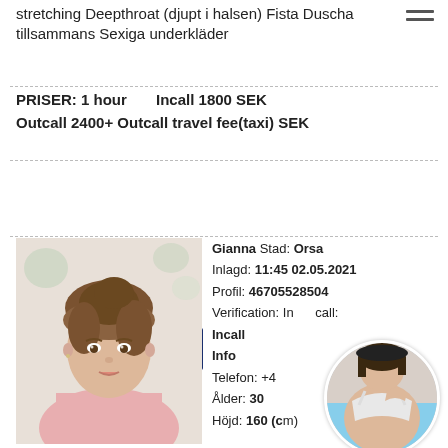stretching Deepthroat (djupt i halsen) Fista Duscha tillsammans Sexiga underkläder
PRISER: 1 hour   Incall 1800 SEK
Outcall 2400+ Outcall travel fee(taxi) SEK
Prioritetsannons
[Figure (photo): Profile photo of a young woman with an updo hairstyle wearing a pink outfit, with flowers in the background]
Gianna Stad: Orsa
Inlagd: 11:45 02.05.2021
Profil: 46705528504
Verification: Incall:
Incall
Info
Telefon: +4
Ålder: 30
Höjd: 160 (cm)
[Figure (photo): Circular thumbnail photo of a person]